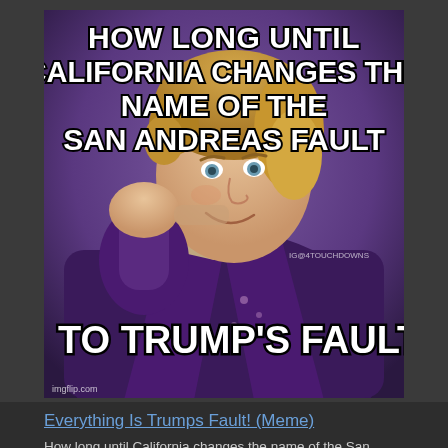[Figure (photo): Meme image featuring a man in a purple velvet jacket with a bow tie, resting his chin on his hand with a smirking expression. Top text reads: 'HOW LONG UNTIL CALIFORNIA CHANGES THE NAME OF THE SAN ANDREAS FAULT'. Bottom text reads: 'TO TRUMP'S FAULT?'. Watermark: imgflip.com. Secondary watermark: IG@4TOUCHDOWNS.]
Everything Is Trumps Fault! (Meme)
How long until California changes the name of the San Andreas Fault to... Trumps Fault?